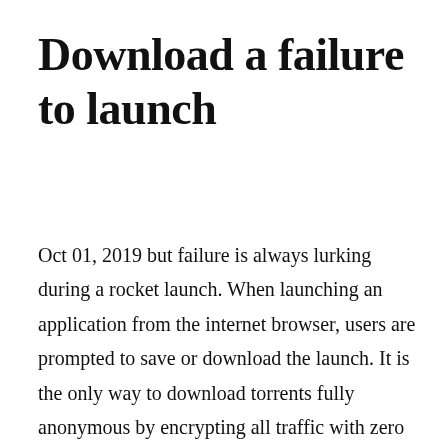Download a failure to launch
Oct 01, 2019 but failure is always lurking during a rocket launch. When launching an application from the internet browser, users are prompted to save or download the launch. It is the only way to download torrents fully anonymous by encrypting all traffic with zero logs. Matthew mcconaughey and sarah jessica